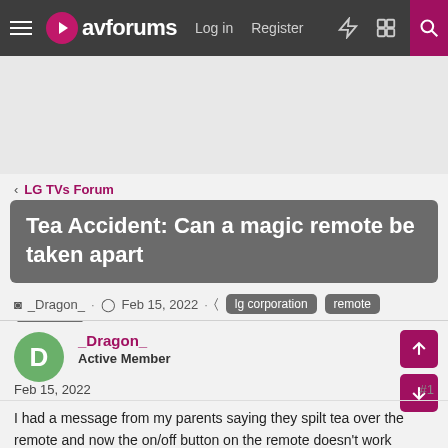avforums — Log in | Register
[Figure (other): Advertisement area (blank gray)]
< LG TVs Forum
Tea Accident: Can a magic remote be taken apart
_Dragon_ · Feb 15, 2022 · lg corporation  remote  television
_Dragon_
Active Member
Feb 15, 2022  #1
I had a message from my parents saying they spilt tea over the remote and now the on/off button on the remote doesn't work